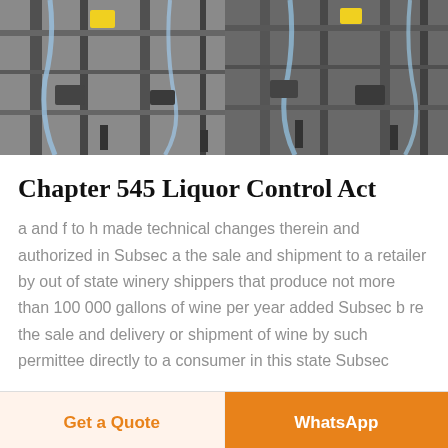[Figure (photo): Industrial machinery/bottling equipment photo showing metal frames, tubes, and mechanical components]
Chapter 545 Liquor Control Act
a and f to h made technical changes therein and authorized in Subsec a the sale and shipment to a retailer by out of state winery shippers that produce not more than 100 000 gallons of wine per year added Subsec b re the sale and delivery or shipment of wine by such permittee directly to a consumer in this state Subsec
Get a Quote
WhatsApp